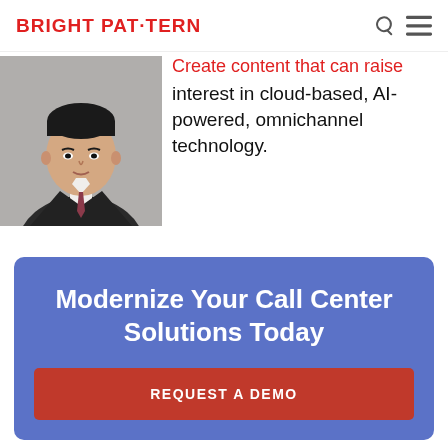BRIGHT PAT·TERN
[Figure (photo): Headshot of an Asian man in a dark suit and tie, professional portrait photo]
Create content that can raise interest in cloud-based, AI-powered, omnichannel technology.
Modernize Your Call Center Solutions Today
REQUEST A DEMO